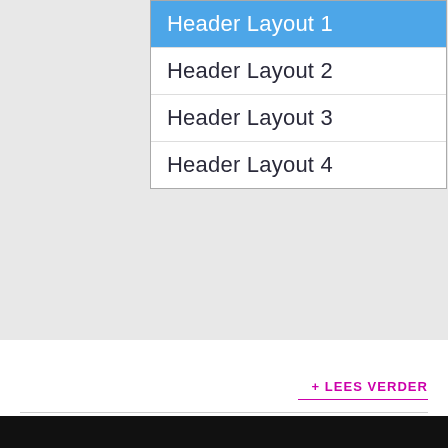[Figure (screenshot): A dropdown/listbox UI element showing four options: 'Header Layout 1' (highlighted in blue/selected), 'Header Layout 2', 'Header Layout 3', 'Header Layout 4', on a light grey background.]
+ LEES VERDER